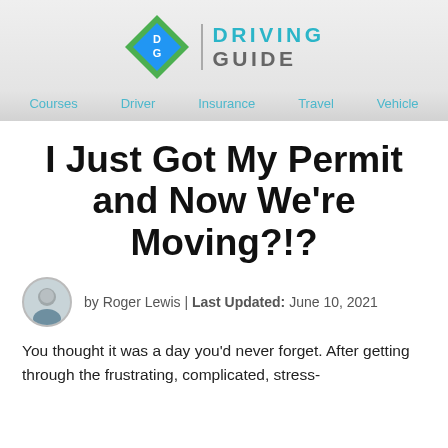[Figure (logo): Driving Guide logo with green and blue diamond DG icon and the text DRIVING GUIDE]
Courses | Driver | Insurance | Travel | Vehicle
I Just Got My Permit and Now We're Moving?!?
by Roger Lewis | Last Updated: June 10, 2021
You thought it was a day you'd never forget. After getting through the frustrating, complicated, stress-